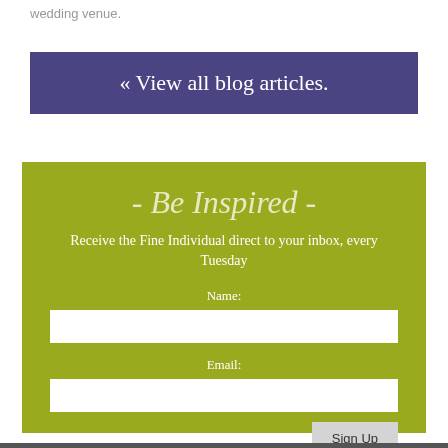wedding venue.
« View all blog articles.
- Be Inspired -
Receive the Fine Individual direct to your inbox, every Tuesday
Name:
Email:
Sign Up